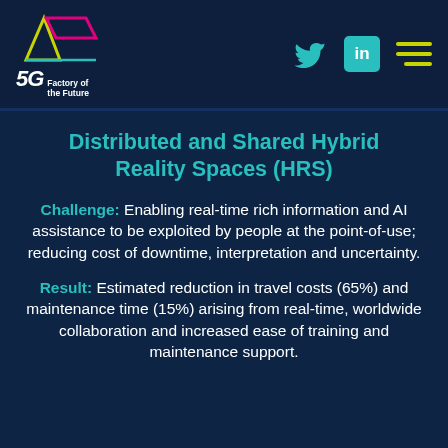5G Factory of the Future
Distributed and Shared Hybrid Reality Spaces (HRS)
Challenge: Enabling real-time rich information and AI assistance to be exploited by people at the point-of-use; reducing cost of downtime, interpretation and uncertainty.
Result: Estimated reduction in travel costs (65%) and maintenance time (15%) arising from real-time, worldwide collaboration and increased ease of training and maintenance support.